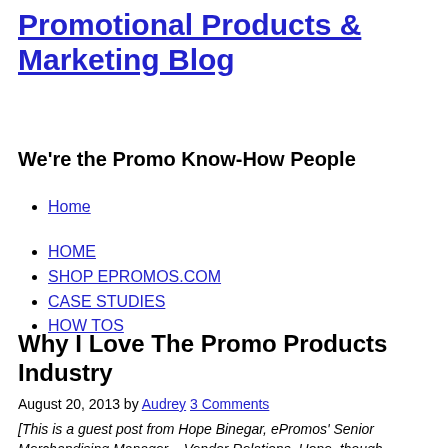Promotional Products & Marketing Blog
We're the Promo Know-How People
Home
HOME
SHOP EPROMOS.COM
CASE STUDIES
HOW TOS
Why I Love The Promo Products Industry
August 20, 2013 by Audrey 3 Comments
[This is a guest post from Hope Binegar, ePromos' Senior Merchandising Manager – Vendor Relations. Hope, though normally quite graceful, took a tumble at a recent promo products